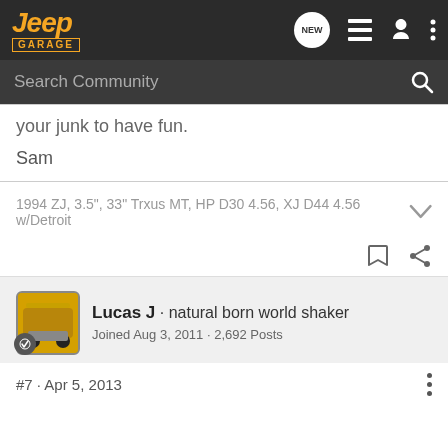[Figure (screenshot): Jeep Garage forum website navigation bar with logo, NEW bubble icon, list icon, user icon, and three-dot menu icon on dark background]
[Figure (screenshot): Search Community search bar with magnifying glass icon on dark gray background]
your junk to have fun.
Sam
1994 ZJ, 3.5", 33" Trxus MT, HP D30 4.56, XJ D44 4.56 w/Detroit
Lucas J · natural born world shaker
Joined Aug 3, 2011 · 2,692 Posts
#7 · Apr 5, 2013